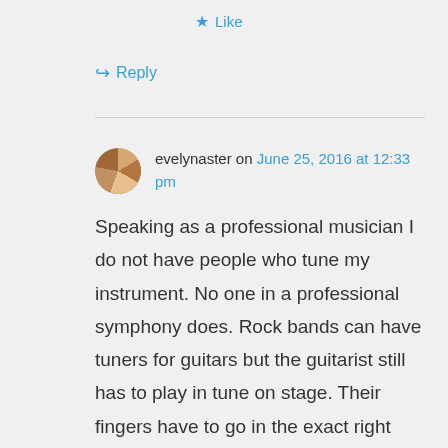Like
Reply
evelynaster on June 25, 2016 at 12:33 pm
Speaking as a professional musician I do not have people who tune my instrument. No one in a professional symphony does. Rock bands can have tuners for guitars but the guitarist still has to play in tune on stage. Their fingers have to go in the exact right spot. The vocalist has to hit the notes on the right pitch. Yo Yo Ma tunes his cello